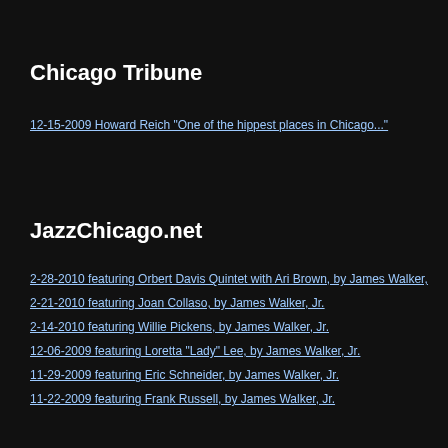Chicago Tribune
12-15-2009 Howard Reich "One of the hippest places in Chicago..."
JazzChicago.net
2-28-2010 featuring Orbert Davis Quintet with Ari Brown, by James Walker,
2-21-2010 featuring Joan Collaso, by James Walker, Jr.
2-14-2010 featuring Willie Pickens, by James Walker, Jr.
12-06-2009 featuring Loretta "Lady" Lee, by James Walker, Jr.
11-29-2009 featuring Eric Schneider, by James Walker, Jr.
11-22-2009 featuring Frank Russell, by James Walker, Jr.